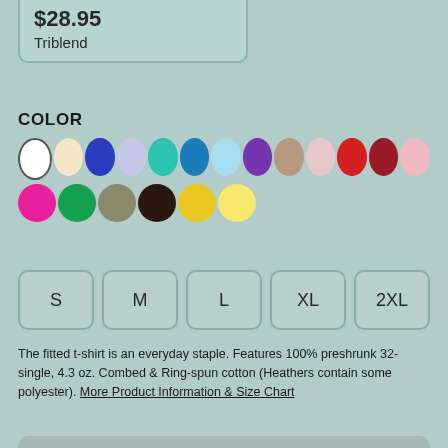$28.95
Triblend
COLOR
[Figure (other): Color swatches: white, cream, navy, lavender, teal, blue, light blue, purple, tan, blush, red, dark red, pink, hot pink, green, khaki, dark brown, yellow, light yellow]
S  M  L  XL  2XL
The fitted t-shirt is an everyday staple. Features 100% preshrunk 32-single, 4.3 oz. Combed & Ring-spun cotton (Heathers contain some polyester). More Product Information & Size Chart
ADD TO CART
Free Shipping On US Orders Over $99 See checkout for details (excluding Shoes, Skateboards, and some Wall Art)